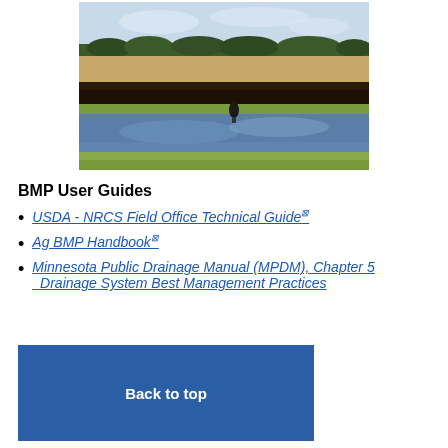[Figure (photo): Aerial/ground-level photo of a water retention pond or drainage area in an agricultural field, showing a reflective blue water body in the foreground, dark soil and wetland vegetation in the middle ground, and a flat crop field with a tree line in the background under a partly cloudy sky.]
BMP User Guides
USDA - NRCS Field Office Technical Guide
Ag BMP Handbook
Minnesota Public Drainage Manual (MPDM), Chapter 5 Drainage System Best Management Practices
Applicable Programs
CWF Multipurpose Drainage Management